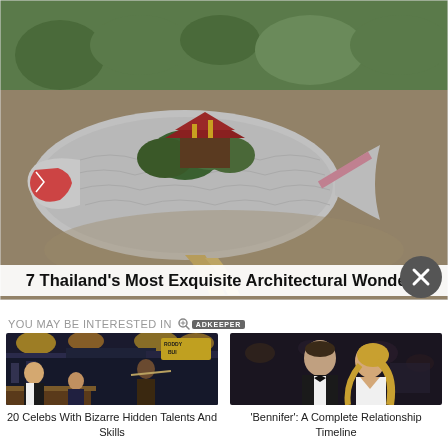[Figure (photo): Aerial view of a Thai architectural complex on a small island shaped like a fish or serpent surrounded by water, with lush trees and ornate temple structure in the center, connected by a walkway.]
7 Thailand's Most Exquisite Architectural Wonders
YOU MAY BE INTERESTED IN
[Figure (photo): Late night talk show set with host and guests including a man playing a flute, studio audience visible in background.]
20 Celebs With Bizarre Hidden Talents And Skills
[Figure (photo): A man in a tuxedo and a woman in a white dress posing together at a formal event, appearing to be Ben Affleck and Jennifer Lopez.]
'Bennifer': A Complete Relationship Timeline